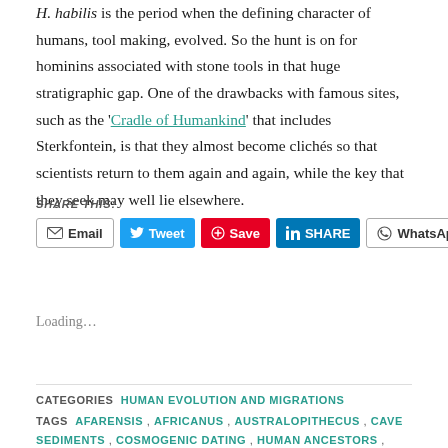H. habilis is the period when the defining character of humans, tool making, evolved. So the hunt is on for hominins associated with stone tools in that huge stratigraphic gap. One of the drawbacks with famous sites, such as the 'Cradle of Humankind' that includes Sterkfontein, is that they almost become clichés so that scientists return to them again and again, while the key that they seek may well lie elsewhere.
SHARE THIS:
Email  Tweet  Save  SHARE  WhatsApp
Loading...
CATEGORIES  HUMAN EVOLUTION AND MIGRATIONS
TAGS  AFARENSIS , AFRICANUS , AUSTRALOPITHECUS , CAVE SEDIMENTS , COSMOGENIC DATING , HUMAN ANCESTORS ,